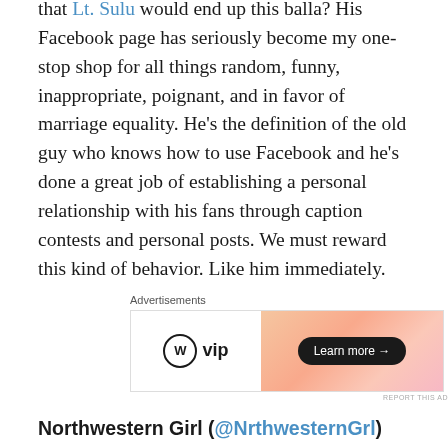that Lt. Sulu would end up this balla? His Facebook page has seriously become my one-stop shop for all things random, funny, inappropriate, poignant, and in favor of marriage equality. He's the definition of the old guy who knows how to use Facebook and he's done a great job of establishing a personal relationship with his fans through caption contests and personal posts. We must reward this kind of behavior. Like him immediately.
[Figure (screenshot): WordPress VIP advertisement banner with gradient orange/pink background and 'Learn more' button]
Northwestern Girl (@NrthwesternGrl)
She just gets us. Northwestern Girl takes all of NU's subtle habits, phrases, and tendencies and combines them into the epitome of an overachieving sorostitute who casually lives in Norris. Her knowledge of what makes NU students